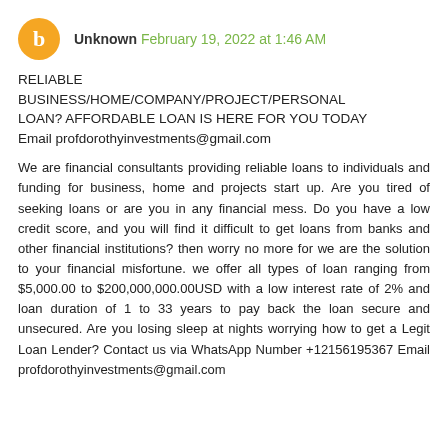Unknown February 19, 2022 at 1:46 AM
RELIABLE BUSINESS/HOME/COMPANY/PROJECT/PERSONAL LOAN? AFFORDABLE LOAN IS HERE FOR YOU TODAY Email profdorothyinvestments@gmail.com
We are financial consultants providing reliable loans to individuals and funding for business, home and projects start up. Are you tired of seeking loans or are you in any financial mess. Do you have a low credit score, and you will find it difficult to get loans from banks and other financial institutions? then worry no more for we are the solution to your financial misfortune. we offer all types of loan ranging from $5,000.00 to $200,000,000.00USD with a low interest rate of 2% and loan duration of 1 to 33 years to pay back the loan secure and unsecured. Are you losing sleep at nights worrying how to get a Legit Loan Lender? Contact us via WhatsApp Number +12156195367 Email profdorothyinvestments@gmail.com